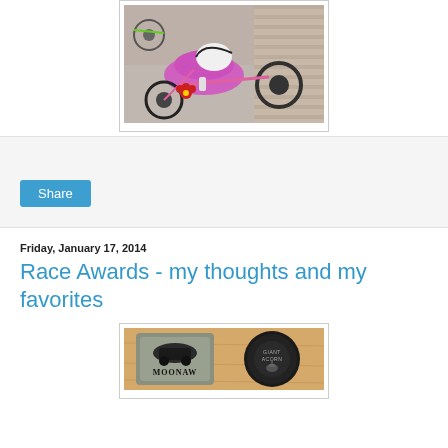[Figure (photo): Overhead view of a hand cyclist in pink/magenta outfit and white helmet with black stripes, riding an adaptive hand cycle on a paved area near a brick wall, with other bikes visible nearby. A red flower is attached to the bike.]
Share
Friday, January 17, 2014
Race Awards - my thoughts and my favorites
[Figure (photo): Photo of race awards including what appears to be a Moonaw token/coaster and a Giant Acorn race medal on a wooden surface.]